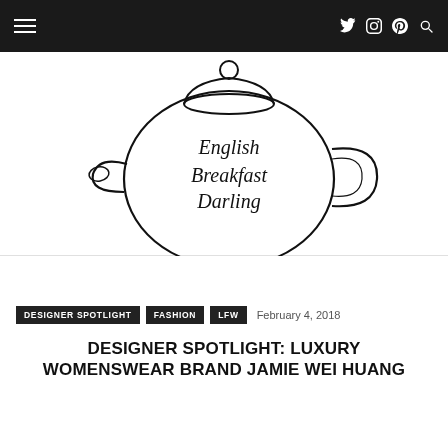English Breakfast Darling — navigation bar
[Figure (logo): Line drawing of a teapot with the text 'English Breakfast Darling' written on it in handwritten style]
DESIGNER SPOTLIGHT   FASHION   LFW   February 4, 2018
DESIGNER SPOTLIGHT: LUXURY WOMENSWEAR BRAND JAMIE WEI HUANG